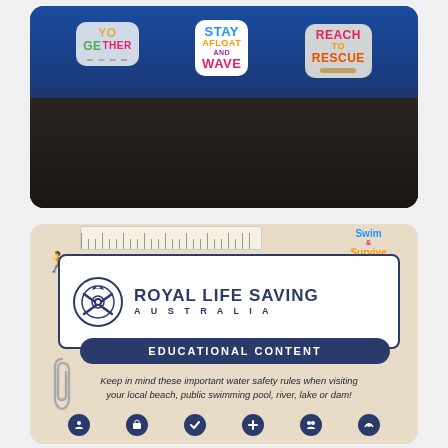[Figure (photo): Photo of water safety stickers on a blue background in a tray. Stickers read 'TOGETHER', 'STAY AFLOAT AND WAVE', and 'REACH TO RESCUE' in colorful cartoon lettering.]
[Figure (illustration): Royal Life Saving Australia educational content card on a beige graph-paper background. Shows the RLSA logo with crossed paddles emblem, 'ROYAL LIFE SAVING AUSTRALIA' text, a 'Swim and Survive' logo, an 'EDUCATIONAL CONTENT' banner, and text: 'Keep in mind these important water safety rules when visiting your local beach, public swimming pool, river, lake or dam!' with decorative ruler, paperclip, and running figure graphics. Row of icon circles at bottom.]